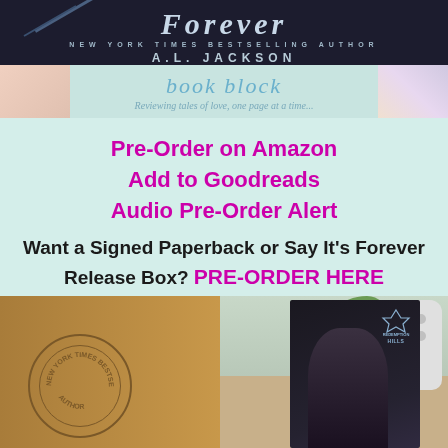[Figure (photo): Book cover image for 'Say It's Forever' by A.L. Jackson, dark romance novel cover, shown above a 'book block' blog banner with tagline 'Reviewing tales of love, one page at a time.']
Pre-Order on Amazon
Add to Goodreads
Audio Pre-Order Alert
Want a Signed Paperback or Say It's Forever Release Box?  PRE-ORDER HERE
[Figure (photo): Photo of a kraft paper box with a 'New York Times Bestselling' circular stamp, a book with a dark cover showing a man with long dark hair and the 'Redemption Hills' logo, a white ceramic pot with holes, and green plants in the background.]